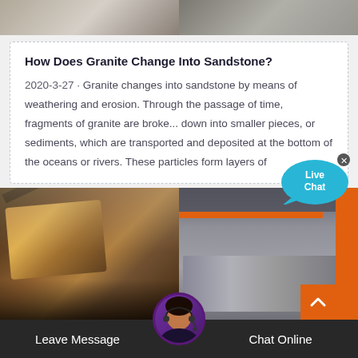[Figure (photo): Top strip showing two stone/rock texture images side by side]
How Does Granite Change Into Sandstone?
2020-3-27 · Granite changes into sandstone by means of weathering and erosion. Through the passage of time, fragments of granite are broke... down into smaller pieces, or sediments, which are transported and deposited at the bottom of the oceans or rivers. These particles form layers of
[Figure (illustration): Live Chat bubble overlay icon in cyan/blue]
[Figure (photo): Bottom industrial area showing two images: mining/quarry equipment on left, industrial building/machinery on right]
Leave Message
[Figure (photo): Customer service agent avatar circle in bottom center]
Chat Online